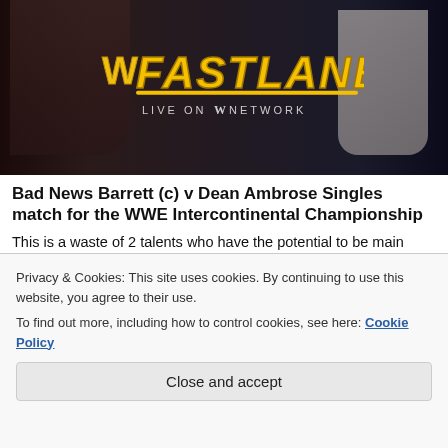[Figure (photo): WWE Fastlane event promotional banner showing wrestlers and the WWE Fastlane logo with 'LIVE ON WWE NETWORK' text]
Bad News Barrett (c) v Dean Ambrose Singles match for the WWE Intercontinental Championship
This is a waste of 2 talents who have the potential to be main eventers. Dean Ambrose has been riding high with the “Lunatic Fringe” leader showing his aggressive streak and charisma in matches. Ambrose doesn’t have pretty matches, or technical sound matches, but they are
Privacy & Cookies: This site uses cookies. By continuing to use this website, you agree to their use.
To find out more, including how to control cookies, see here: Cookie Policy
pushing a giant against a talent?